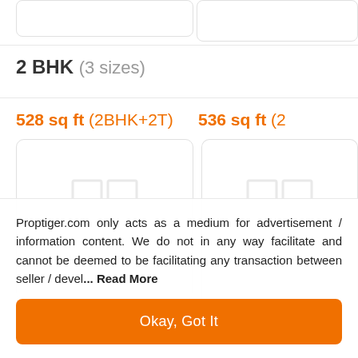2 BHK (3 sizes)
528 sq ft (2BHK+2T)
536 sq ft (2
[Figure (other): No Floor Plan card with floor plan icon placeholder, left]
- Builder Price
[Figure (other): No Floor Plan card with floor plan icon placeholder, right]
Proptiger.com only acts as a medium for advertisement / information content. We do not in any way facilitate and cannot be deemed to be facilitating any transaction between seller / devel... Read More
Okay, Got It